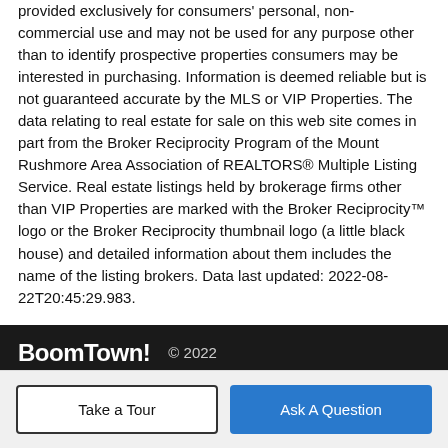provided exclusively for consumers' personal, non-commercial use and may not be used for any purpose other than to identify prospective properties consumers may be interested in purchasing. Information is deemed reliable but is not guaranteed accurate by the MLS or VIP Properties. The data relating to real estate for sale on this web site comes in part from the Broker Reciprocity Program of the Mount Rushmore Area Association of REALTORS® Multiple Listing Service. Real estate listings held by brokerage firms other than VIP Properties are marked with the Broker Reciprocity™ logo or the Broker Reciprocity thumbnail logo (a little black house) and detailed information about them includes the name of the listing brokers. Data last updated: 2022-08-22T20:45:29.983.
BoomTown! © 2022 Terms of Use | Privacy Policy | Accessibility | DMCA | Listings Sitemap
Take a Tour   Ask A Question